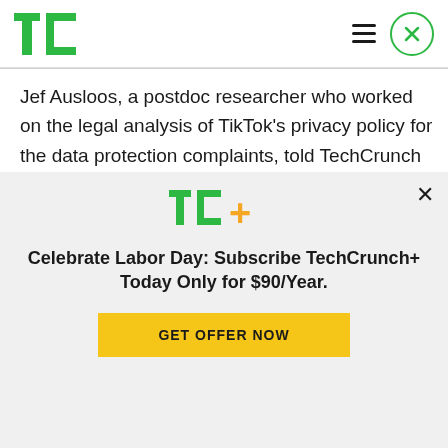[Figure (logo): TechCrunch TC green logo in top-left nav bar]
Jef Ausloos, a postdoc researcher who worked on the legal analysis of TikTok's privacy policy for the data protection complaints, told TechCrunch researchers had been ready to file data protection complaints a year ago — at a time when the
[Figure (logo): TC+ logo in green and orange/yellow modal overlay]
Celebrate Labor Day: Subscribe TechCrunch+ Today Only for $90/Year.
GET OFFER NOW